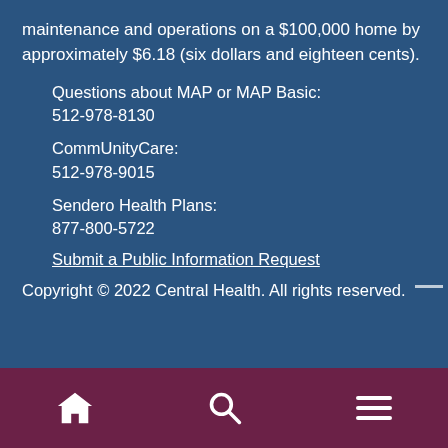maintenance and operations on a $100,000 home by approximately $6.18 (six dollars and eighteen cents).
Questions about MAP or MAP Basic:
512-978-8130
CommUnityCare:
512-978-9015
Sendero Health Plans:
877-800-5722
Submit a Public Information Request
Copyright © 2022 Central Health. All rights reserved.
[Figure (infographic): Mobile navigation footer bar with home icon, search icon, and hamburger menu icon on dark maroon background]